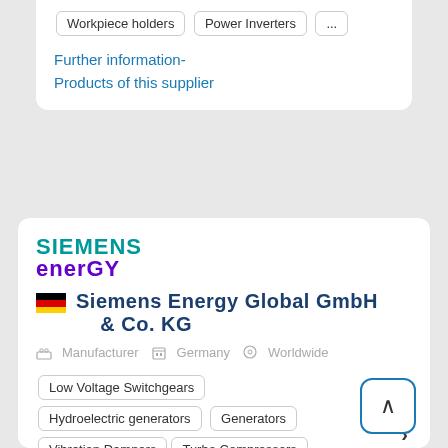Workpiece holders   Power Inverters   ...
Further information-
Products of this supplier
[Figure (logo): Siemens Energy logo with teal 'SIEMENS' text and purple 'energy' text]
Siemens Energy Global GmbH & Co. KG
Manufacturer   Germany   Worldwide
Low Voltage Switchgears
Hydroelectric generators   Generators
Vibration Dampers   Turbo Compressors
Hydroelectric installations   ...
Our Energy Sector is the world's leading supplier of a wide range of products, solutions